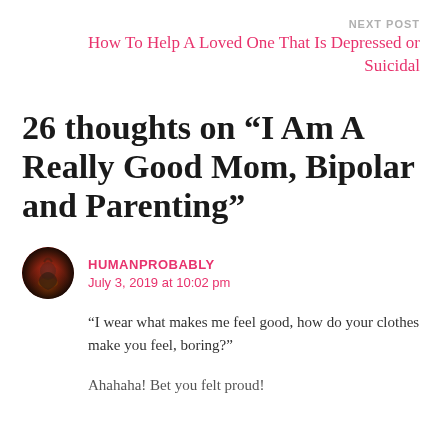NEXT POST
How To Help A Loved One That Is Depressed or Suicidal
26 thoughts on “I Am A Really Good Mom, Bipolar and Parenting”
HUMANPROBABLY
July 3, 2019 at 10:02 pm
“I wear what makes me feel good, how do your clothes make you feel, boring?”
Ahahaha! Bet you felt proud!